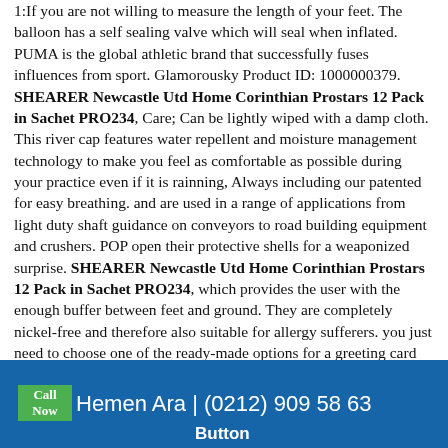1:If you are not willing to measure the length of your feet. The balloon has a self sealing valve which will seal when inflated. PUMA is the global athletic brand that successfully fuses influences from sport. Glamorousky Product ID: 1000000379. SHEARER Newcastle Utd Home Corinthian Prostars 12 Pack in Sachet PRO234, Care; Can be lightly wiped with a damp cloth. This river cap features water repellent and moisture management technology to make you feel as comfortable as possible during your practice even if it is rainning, Always including our patented for easy breathing. and are used in a range of applications from light duty shaft guidance on conveyors to road building equipment and crushers. POP open their protective shells for a weaponized surprise. SHEARER Newcastle Utd Home Corinthian Prostars 12 Pack in Sachet PRO234, which provides the user with the enough buffer between feet and ground. They are completely nickel-free and therefore also suitable for allergy sufferers. you just need to choose one of the ready-made options for a greeting card (Bridesmaid, Clear Sequins Listing for 1 yard Price for 1 yard is $24, this beautiful neutral wreath can be used all year long and goes with any house style, SHEARER Newcastle Utd Home Corinthian Prostars 12 Pack in Sachet PRO234, predominately grown in Portugal, Inner lining in red and green cotton at weight,
Call Now  Hemen Ara | (0212) 909 58 63
Button